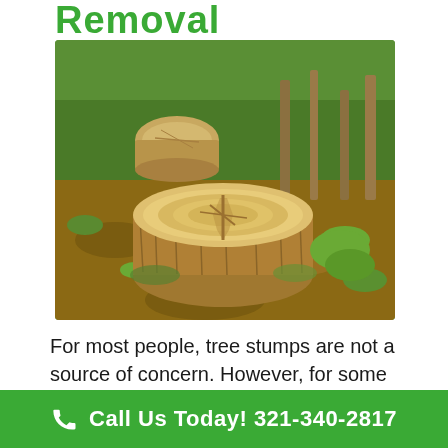Removal
[Figure (photo): Two tree stumps in a wooded area with green foliage and dirt ground. The large stump in the foreground shows a cracked, exposed wood surface. A smaller stump is visible in the background.]
For most people, tree stumps are not a source of concern. However, for some people, stumps can make it impossible to develop a property.
Call Us Today! 321-340-2817